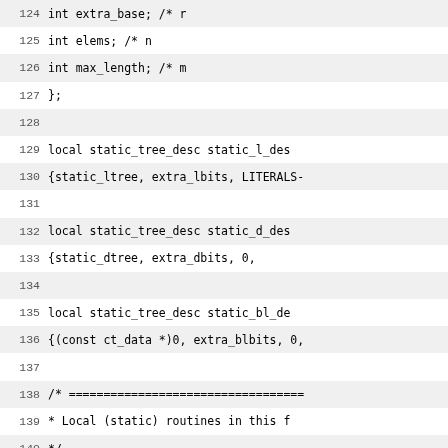Source code listing lines 124-151, C code with line numbers showing struct fields and local function declarations including static_tree_desc definitions and local void/int function prototypes.